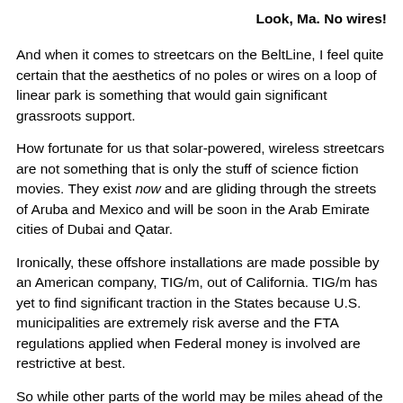Look, Ma. No wires!
And when it comes to streetcars on the BeltLine, I feel quite certain that the aesthetics of no poles or wires on a loop of linear park is something that would gain significant grassroots support.
How fortunate for us that solar-powered, wireless streetcars are not something that is only the stuff of science fiction movies. They exist now and are gliding through the streets of Aruba and Mexico and will be soon in the Arab Emirate cities of Dubai and Qatar.
Ironically, these offshore installations are made possible by an American company, TIG/m, out of California. TIG/m has yet to find significant traction in the States because U.S. municipalities are extremely risk averse and the FTA regulations applied when Federal money is involved are restrictive at best.
So while other parts of the world may be miles ahead of the US in urban transportation, this could change with a truly